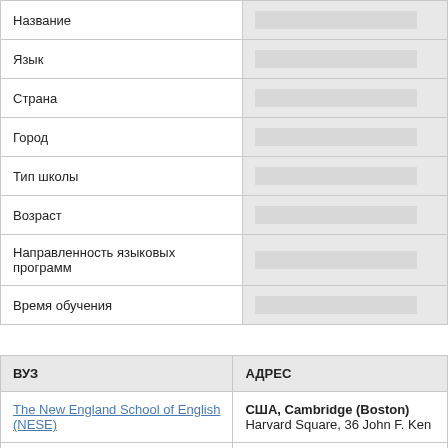|  |  |
| --- | --- |
| Название |  |
| Язык |  |
| Страна |  |
| Город |  |
| Тип школы |  |
| Возраст |  |
| Направленность языковых программ |  |
| Время обучения |  |
| ВУЗ | АДРЕС |
| --- | --- |
| The New England School of English (NESE) | США, Cambridge (Boston)
Harvard Square, 36 John F. Ken |
| Southern New Hampshire University | США, Manchester
2500 N. River Rd |
| University Language Institute | США, Tulsa
3448 East 81st Street, Suite... |